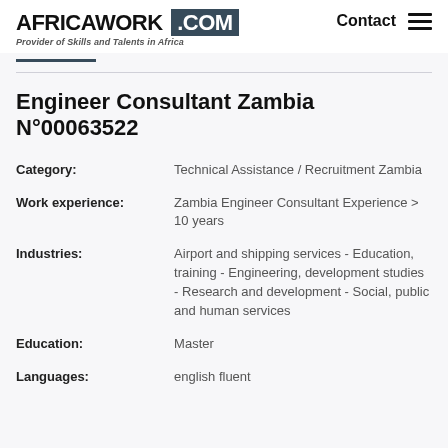AFRICAWORK .COM — Provider of Skills and Talents in Africa — Contact
Engineer Consultant Zambia N°00063522
| Field | Value |
| --- | --- |
| Category: | Technical Assistance / Recruitment Zambia |
| Work experience: | Zambia Engineer Consultant Experience > 10 years |
| Industries: | Airport and shipping services - Education, training - Engineering, development studies - Research and development - Social, public and human services |
| Education: | Master |
| Languages: | english fluent |